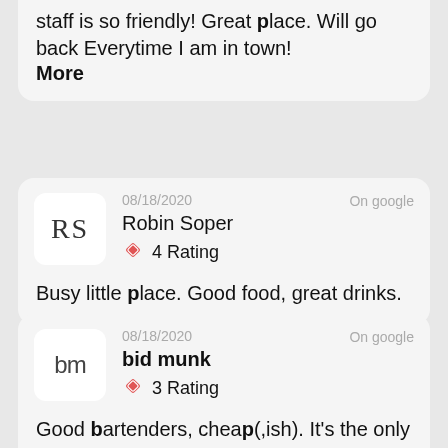staff is so friendly! Great place. Will go back Everytime I am in town!
More
08/18/2020  On google
Robin Soper
4 Rating

Busy little place. Good food, great drinks.
08/18/2020  On google
bid munk
3 Rating

Good bartenders, cheap(,ish). It's the only bar in town though, so good by default. Pool table!
More